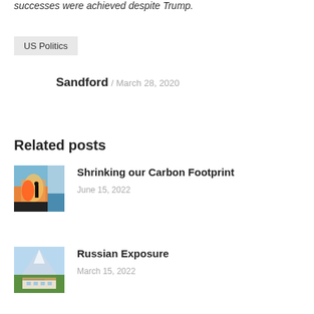successes were achieved despite Trump.
US Politics
Sandford / March 28, 2020
Related posts
[Figure (photo): Thumbnail image showing fire and silhouette, related to Shrinking our Carbon Footprint post]
Shrinking our Carbon Footprint
June 15, 2022
[Figure (photo): Thumbnail image showing a snow-capped mountain and building, related to Russian Exposure post]
Russian Exposure
March 15, 2022